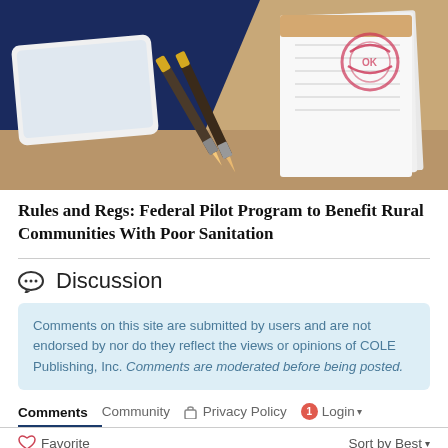[Figure (illustration): Illustration of a desk with notebooks, pencils/pens, and a notepad with a stamp/seal on it, on a dark navy blue and tan/brown background.]
Rules and Regs: Federal Pilot Program to Benefit Rural Communities With Poor Sanitation
Comments on this site are submitted by users and are not endorsed by nor do they reflect the views or opinions of COLE Publishing, Inc. Comments are moderated before being posted.
Discussion
Comments  Community  Privacy Policy  1  Login
Favorite  Sort by Best